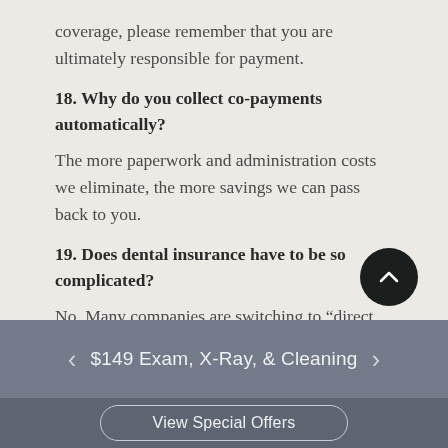coverage, please remember that you are ultimately responsible for payment.
18. Why do you collect co-payments automatically?
The more paperwork and administration costs we eliminate, the more savings we can pass back to you.
19. Does dental insurance have to be so complicated?
No. Many companies are switching to “direct reimbursement plans”. These are so clear and simple
$149 Exam, X-Ray, & Cleaning
View Special Offers